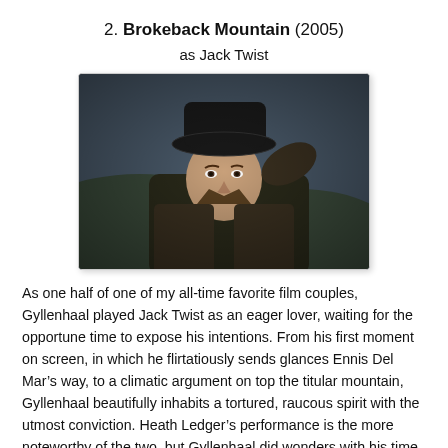2. Brokeback Mountain (2005)
as Jack Twist
[Figure (photo): A still from Brokeback Mountain (2005) showing a young man wearing a dark cowboy hat, looking to the side, with muted outdoor lighting.]
As one half of one of my all-time favorite film couples, Gyllenhaal played Jack Twist as an eager lover, waiting for the opportune time to expose his intentions. From his first moment on screen, in which he flirtatiously sends glances Ennis Del Mar’s way, to a climatic argument on top the titular mountain, Gyllenhaal beautifully inhabits a tortured, raucous spirit with the utmost conviction. Heath Ledger’s performance is the more noteworthy of the two, but Gyllenhaal did wonders with his time on screen. He helped the audience make sense of Ennis’ plight, while himself creating an indelible character in the process.